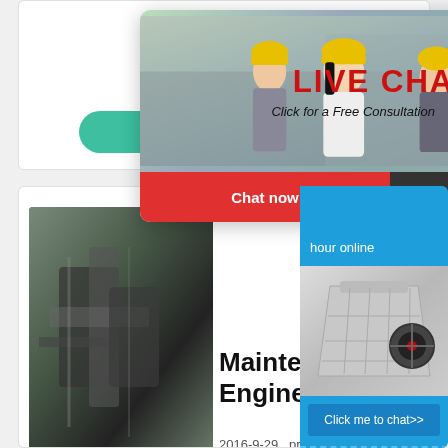hydrostatic lift of the feed and discharge trunnions during start-up of the mill
More
[Figure (photo): Industrial mining/grinding machinery photo]
LIVE CHAT
Click for a Free Consultation
Chat now
Chat later
Maintehan Engineering
2016-9-29  protect grinding. The replac inspection of mill lin
[Figure (photo): Industrial crusher/mill machine on right sidebar]
hour online
Click me to chat>>
Enquiry
owweitml@gmail